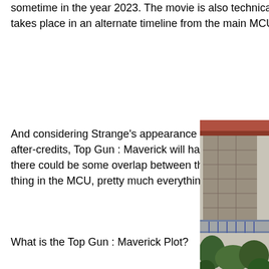sometime in the year 2023. The movie is also technically happening after Loki, even though that show takes place in an alternate timeline from the main MCU universe.
And considering Strange's appearance in Spider-Man: No Way Home and the trailer serving as the after-credits, Top Gun : Maverick will happen after the events of that film. There's also the chance that there could be some overlap between the two movies. Now that the multiverse and time-travel are a thing in the MCU, pretty much everything is possible.
What is the Top Gun : Maverick Plot?
[Figure (photo): Partial view of a building with a reddish roof, stone or concrete walls, a railing or balcony structure, and green foliage at the bottom.]